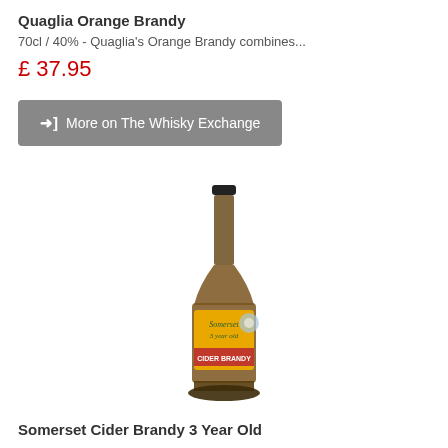Quaglia Orange Brandy
70cl / 40% - Quaglia's Orange Brandy combines...
£ 37.95
➜] More on The Whisky Exchange
[Figure (photo): A bottle of Somerset Cider Brandy 3 Year Old with a yellow label featuring decorative script text and floral design, dark glass bottle with long neck.]
Somerset Cider Brandy 3 Year Old